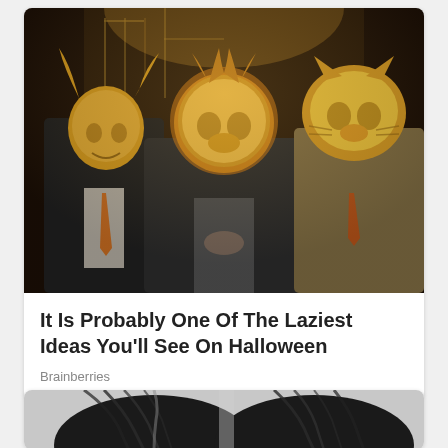[Figure (photo): Three men in dark suits wearing ornate golden animal masks (bull/deer, lion, tiger/cat) at what appears to be a formal event or party, with patterned wallpaper in the background. Warm amber/golden lighting.]
It Is Probably One Of The Laziest Ideas You'll See On Halloween
Brainberries
[Figure (photo): Close-up of two people's hair from above, showing dark hair with slight thinning/parting visible, on a gray background.]